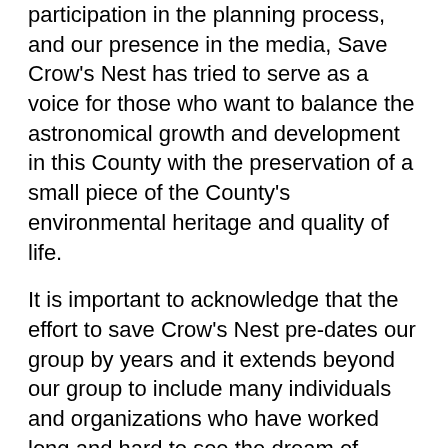participation in the planning process, and our presence in the media, Save Crow's Nest has tried to serve as a voice for those who want to balance the astronomical growth and development in this County with the preservation of a small piece of the County's environmental heritage and quality of life.
It is important to acknowledge that the effort to save Crow's Nest pre-dates our group by years and it extends beyond our group to include many individuals and organizations who have worked long and hard to see the dream of preservation finally realized.  The work of the folks who created the Crow's Nest documentary you will see tonight is just one example of that.
But, so far, all of our work, all of our education efforts, all of our advocacy, appears to have been met by stony silence and inaction on the part of this Board...